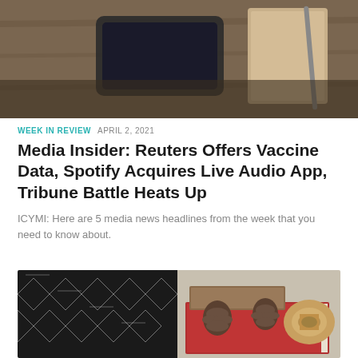[Figure (photo): Top partial image showing a smartphone and a wooden notebook on a wooden table surface]
WEEK IN REVIEW  APRIL 2, 2021
Media Insider: Reuters Offers Vaccine Data, Spotify Acquires Live Audio App, Tribune Battle Heats Up
ICYMI: Here are 5 media news headlines from the week that you need to know about.
[Figure (photo): Bottom partial image showing patterned fabric on the left and books with pinecones and a spool of twine on a red book on the right]